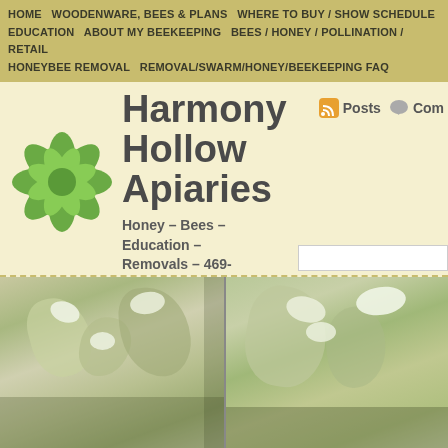HOME  WOODENWARE, BEES & PLANS  WHERE TO BUY / SHOW SCHEDULE  EDUCATION  ABOUT MY BEEKEEPING  BEES / HONEY / POLLINATION / RETAIL  HONEYBEE REMOVAL  REMOVAL/SWARM/HONEY/BEEKEEPING FAQ
Harmony Hollow Apiaries
Honey – Bees – Education – Removals – 469-251-2BEE (2233)
[Figure (logo): Green flower/leaf logo icon for Harmony Hollow Apiaries]
[Figure (photo): Two side-by-side photos of white flowering plants with green leaves, likely showing plants that bees pollinate]
Categories
Ag Valuation (6)
Recent Posts
Varroa and Mite Management – More